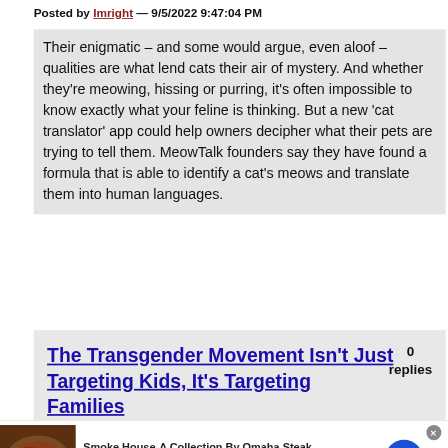Posted by Imright — 9/5/2022 9:47:04 PM
Their enigmatic – and some would argue, even aloof – qualities are what lend cats their air of mystery. And whether they're meowing, hissing or purring, it's often impossible to know exactly what your feline is thinking. But a new 'cat translator' app could help owners decipher what their pets are trying to tell them. MeowTalk founders say they have found a formula that is able to identify a cat's meows and translate them into human languages.
The Transgender Movement Isn't Just Targeting Kids, It's Targeting Families
0 replies
[Figure (photo): Advertisement banner for Smoke House-A Collection By Omaha Steak showing smoked meat image]
Smoke House-A Collection By Omaha Steak
Slow-Smoked Flavored at Home-Ships Free!
www.omahasteaks.com